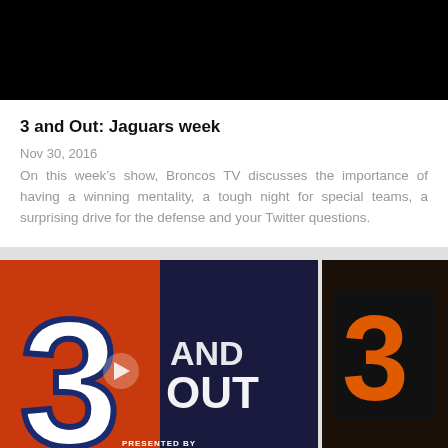[Figure (photo): Black bar at top representing a video/media player area]
3 and Out: Jaguars week
Nov 30, 2016
On this week's show, Broncos TV discusses the importance of having a winning mentality, a tough night for special teams, a surprising drive for the defense and your Twitter questions.
[Figure (screenshot): Two video thumbnail images showing '3 and Out' Broncos TV show branding with orange number 3 logo and 'AND OUT' text. Left thumbnail has a play button overlay and 'PRESENTED BY AMERICAN' text at bottom. Right thumbnail shows the number 3 on a dark background.]